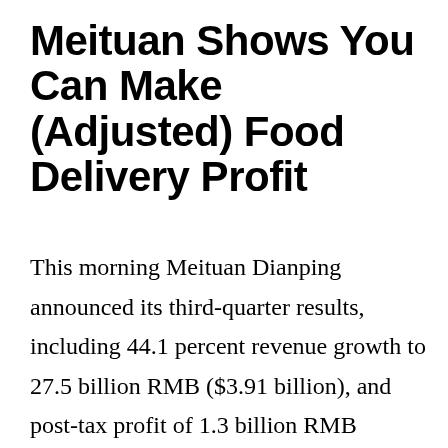Meituan Shows You Can Make (Adjusted) Food Delivery Profit
This morning Meituan Dianping announced its third-quarter results, including 44.1 percent revenue growth to 27.5 billion RMB ($3.91 billion), and post-tax profit of 1.3 billion RMB ($189.1 million). Meituan improved from stiff year-ago losses on both an operating and net basis, making its growth